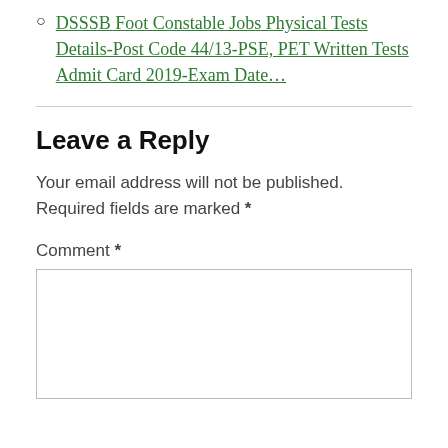DSSSB Foot Constable Jobs Physical Tests Details-Post Code 44/13-PSE, PET Written Tests Admit Card 2019-Exam Date…
Leave a Reply
Your email address will not be published. Required fields are marked *
Comment *